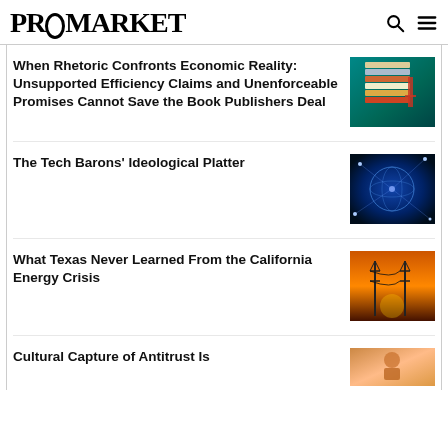PROMARKET
When Rhetoric Confronts Economic Reality: Unsupported Efficiency Claims and Unenforceable Promises Cannot Save the Book Publishers Deal
[Figure (photo): Stack of books against a teal background with a red/orange book visible]
The Tech Barons' Ideological Platter
[Figure (photo): Digital globe with network connections, dark blue tech imagery]
What Texas Never Learned From the California Energy Crisis
[Figure (photo): Power transmission towers at sunset against an orange sky]
Cultural Capture of Antitrust Is